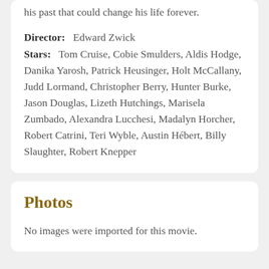his past that could change his life forever.
Director: Edward Zwick
Stars: Tom Cruise, Cobie Smulders, Aldis Hodge, Danika Yarosh, Patrick Heusinger, Holt McCallany, Judd Lormand, Christopher Berry, Hunter Burke, Jason Douglas, Lizeth Hutchings, Marisela Zumbado, Alexandra Lucchesi, Madalyn Horcher, Robert Catrini, Teri Wyble, Austin Hébert, Billy Slaughter, Robert Knepper
Photos
No images were imported for this movie.